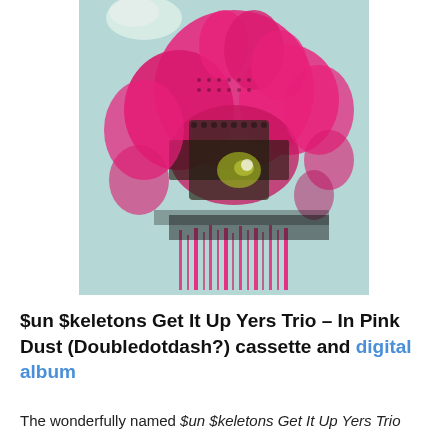[Figure (photo): Album cover for '$un $keletons Get It Up Yers Trio – In Pink Dust'. The image shows a halftone-printed photograph of large pink flowers (possibly bougainvillea or similar) against a pale blue/teal background. The image has a glitchy, distorted lower portion with vertical streaks. The overall aesthetic is lo-fi / DIY.]
$un $keletons Get It Up Yers Trio – In Pink Dust (Doubledotdash?) cassette and digital album
The wonderfully named $un $keletons Get It Up Yers Trio